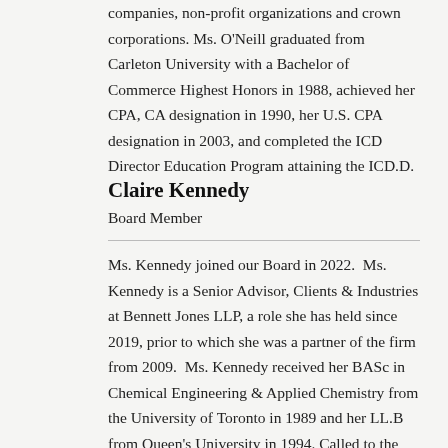companies, non-profit organizations and crown corporations. Ms. O'Neill graduated from Carleton University with a Bachelor of Commerce Highest Honors in 1988, achieved her CPA, CA designation in 1990, her U.S. CPA designation in 2003, and completed the ICD Director Education Program attaining the ICD.D.
Claire Kennedy
Board Member
Ms. Kennedy joined our Board in 2022.  Ms. Kennedy is a Senior Advisor, Clients & Industries at Bennett Jones LLP, a role she has held since 2019, prior to which she was a partner of the firm from 2009.  Ms. Kennedy received her BASc in Chemical Engineering & Applied Chemistry from the University of Toronto in 1989 and her LL.B from Queen's University in 1994. Called to the bar in Ontario in 1996, Ms. Kennedy was law clerk to the late Honourable Mr. Justice Charles D. Gonthier of the Supreme Court of Canada.  Ms. Kennedy currently serves